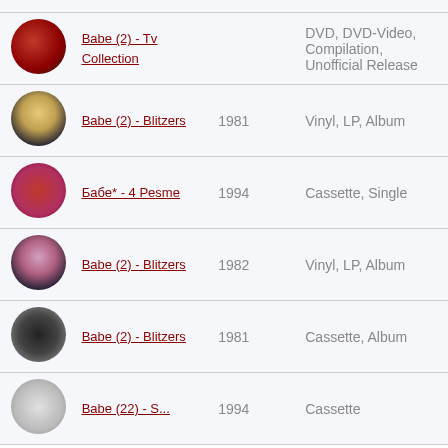|  | Title | Year | Format |
| --- | --- | --- | --- |
| [image] | Babe (2) - Tv Collection |  | DVD, DVD-Video, Compilation, Unofficial Release |
| [image] | Babe (2) - Blitzers | 1981 | Vinyl, LP, Album |
| [image] | Бабе* - 4 Pesme | 1994 | Cassette, Single |
| [image] | Babe (2) - Blitzers | 1982 | Vinyl, LP, Album |
| [image] | Babe (2) - Blitzers | 1981 | Cassette, Album |
| [image] | Babe (22) - ... | 1994 | Cassette |